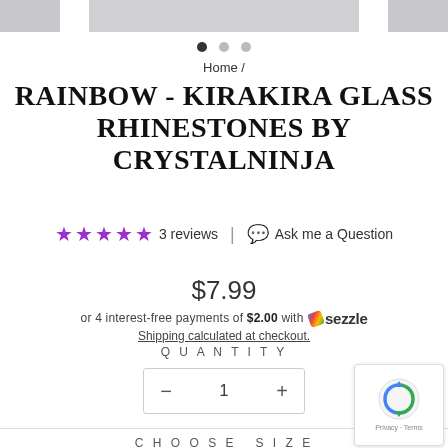[Figure (photo): Product image strip showing rhinestone/crystal fabric textures across three panels at the top]
Home /
RAINBOW - KIRAKIRA GLASS RHINESTONES BY CRYSTALNINJA
★★★★★ 3 reviews | Ask me a Question
$7.99
or 4 interest-free payments of $2.00 with Sezzle
Shipping calculated at checkout.
QUANTITY
− 1 +
CHOOSE SIZE